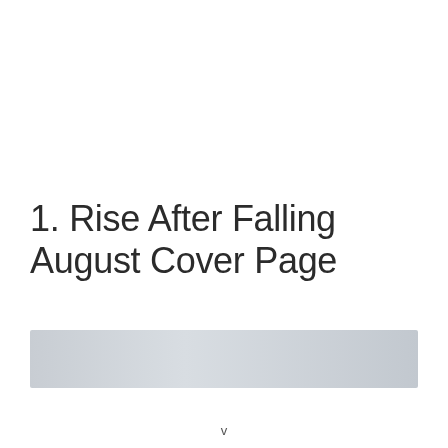1. Rise After Falling August Cover Page
[Figure (illustration): Light gray/silver gradient rectangular bar or image placeholder below the title text]